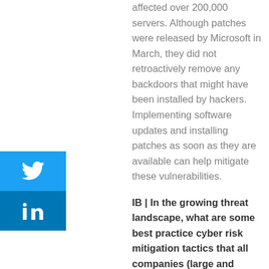affected over 200,000 servers. Although patches were released by Microsoft in March, they did not retroactively remove any backdoors that might have been installed by hackers. Implementing software updates and installing patches as soon as they are available can help mitigate these vulnerabilities.
[Figure (logo): Twitter share button - blue square with white Twitter bird icon]
[Figure (logo): LinkedIn share button - blue square with white LinkedIn 'in' icon]
IB | In the growing threat landscape, what are some best practice cyber risk mitigation tactics that all companies (large and small) should implement?
AE | Cyber risk for both